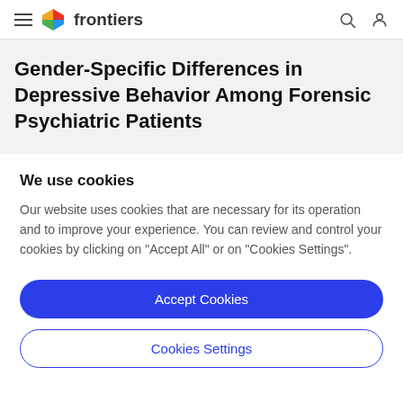frontiers
Gender-Specific Differences in Depressive Behavior Among Forensic Psychiatric Patients
We use cookies
Our website uses cookies that are necessary for its operation and to improve your experience. You can review and control your cookies by clicking on "Accept All" or on "Cookies Settings".
Accept Cookies
Cookies Settings